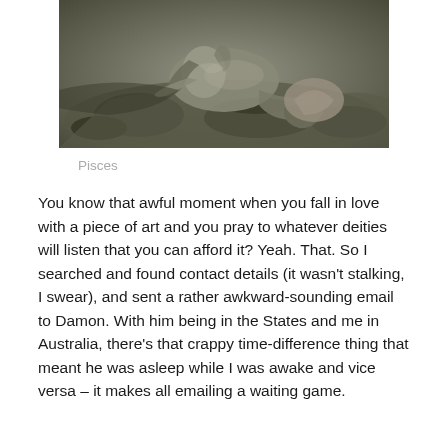[Figure (illustration): Dark fantasy illustration of a mermaid-like creature resting on rocks near water, rendered in dark grey and sepia tones]
Pisces
You know that awful moment when you fall in love with a piece of art and you pray to whatever deities will listen that you can afford it? Yeah. That. So I searched and found contact details (it wasn't stalking, I swear), and sent a rather awkward-sounding email to Damon. With him being in the States and me in Australia, there's that crappy time-difference thing that meant he was asleep while I was awake and vice versa – it makes all emailing a waiting game.